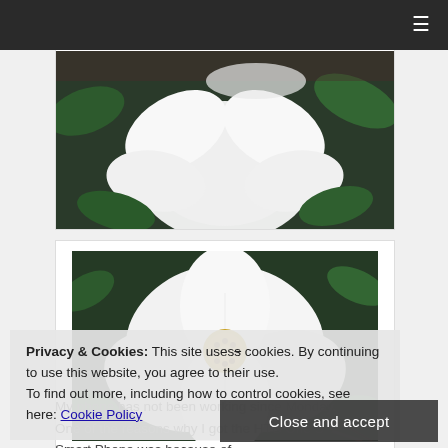[Figure (photo): White flower with green leaves background, partially visible at top of page]
[Figure (photo): Close-up of a large white dogwood flower with yellow center stamens, surrounded by green leaves]
Privacy & Cookies: This site uses cookies. By continuing to use this website, you agree to their use.
To find out more, including how to control cookies, see here: Cookie Policy
Close and accept
My phone has not been working since Monday. One of the reasons why I got the HTC One S Smart Phone was because of